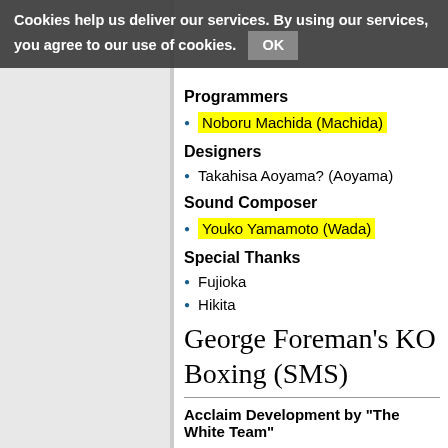Cookies help us deliver our services. By using our services, you agree to our use of cookies. OK
Programmers
Noboru Machida (Machida)
Designers
Takahisa Aoyama? (Aoyama)
Sound Composer
Youko Yamamoto (Wada)
Special Thanks
Fujioka
Hikita
George Foreman's KO Boxing (SMS)
Acclaim Development by "The White Team"
Dan Feinstein